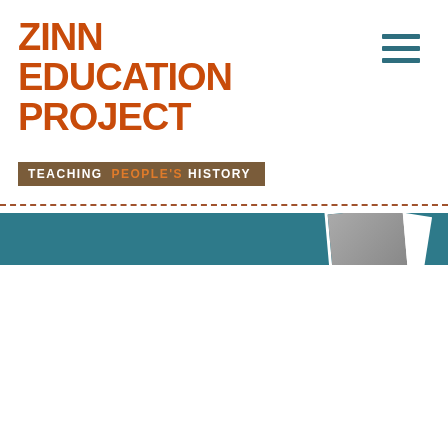ZINN EDUCATION PROJECT
TEACHING PEOPLE'S HISTORY
[Figure (screenshot): Zinn Education Project website screenshot showing logo, navigation hamburger menu, photo strip, 'If We Knew Our History' banner with black-and-white Olympic protest photo, and Teacher Testimonials call-to-action section]
IF WE KNEW OUR HISTORY
TEACHER TESTIMONIALS TELL YOUR STORY